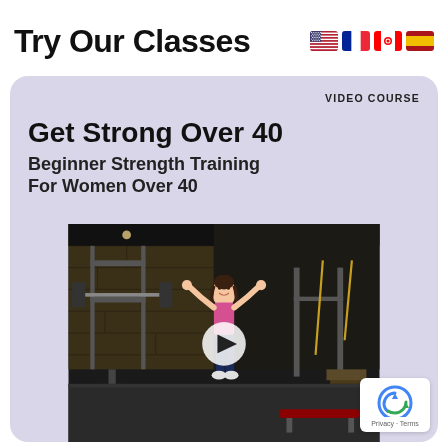Try Our Classes
[Figure (screenshot): Four country flags: USA, France, Canada, Spain]
[Figure (screenshot): Video course card with lavender/purple background. Label 'VIDEO COURSE' in top right. Title 'Get Strong Over 40' in bold, subtitle 'Beginner Strength Training For Women Over 40'. Below is a photo of a woman in a gym with workout equipment, smiling with arms raised. A play button circle is overlaid in the center. A reCAPTCHA badge appears in the bottom right corner with 'Privacy - Terms' text.]